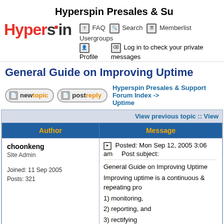Hyperspin Presales & Support
[Figure (logo): Hyperspin logo with red Hyper and dark spin text]
FAQ  Search  Memberlist  Usergroups
Profile  Log in to check your private messages
General Guide on Improving Uptime
new topic  post reply  Hyperspin Presales & Support Forum Index -> Uptime
| Author | Message |
| --- | --- |
| choonkeng
Site Admin

Joined: 11 Sep 2005
Posts: 321 | Posted: Mon Sep 12, 2005 3:06 am  Post subject: General Guide on Improving Uptime

Improving uptime is a continuous & repeating proc...
1) monitoring,
2) reporting, and
3) rectifying

Monitoring |